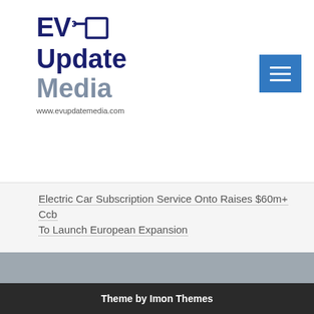[Figure (logo): EV Update Media logo with plug icon and website URL www.evupdatemedia.com]
Electric Car Subscription Service Onto Raises $60m+ Ccb To Launch European Expansion
© All Rights Reserved By EV Update Media | Privacy Policy | Terms
Theme by Imon Themes